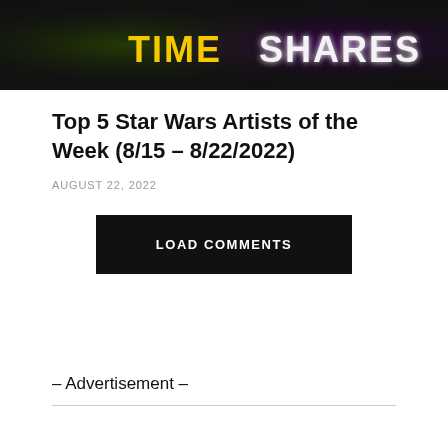[Figure (screenshot): Dark banner image showing colorful text including 'TIME' in yellow and 'SHARES' in glowing purple/white text on a dark background]
Top 5 Star Wars Artists of the Week (8/15 – 8/22/2022)
AUGUST 22, 2022
LOAD COMMENTS
– Advertisement –